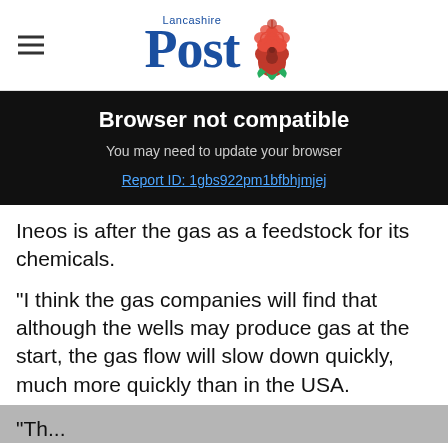Lancashire Post
Browser not compatible
You may need to update your browser
Report ID: 1gbs922pm1bfbhjmjej
Ineos is after the gas as a feedstock for its chemicals.
“I think the gas companies will find that although the wells may produce gas at the start, the gas flow will slow down quickly, much more quickly than in the USA.
“Th... 10,000 ... the US h...